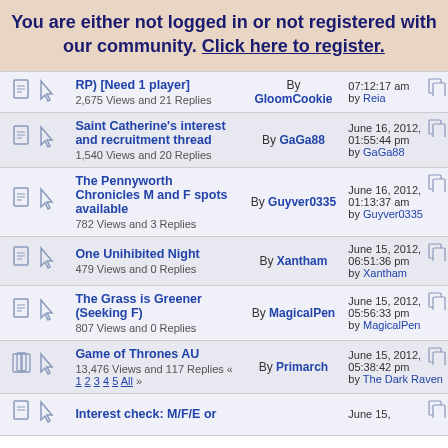You are either not logged in or not registered with our community. Click here to register.
|  | Topic | By | Last Post |
| --- | --- | --- | --- |
| icons | RP) [Need 1 player]
2,675 Views and 21 Replies | By GloomCookie | 07:12:17 am
by Reia |
| icons | Saint Catherine's interest and recruitment thread
1,540 Views and 20 Replies | By GaGa88 | June 16, 2012, 01:55:44 pm
by GaGa88 |
| icons | The Pennyworth Chronicles M and F spots available
782 Views and 3 Replies | By Guyver0335 | June 16, 2012, 01:13:37 am
by Guyver0335 |
| icons | One Unihibited Night
479 Views and 0 Replies | By Xantham | June 15, 2012, 06:51:36 pm
by Xantham |
| icons | The Grass is Greener (Seeking F)
807 Views and 0 Replies | By MagicalPen | June 15, 2012, 05:56:33 pm
by MagicalPen |
| icons | Game of Thrones AU
13,476 Views and 117 Replies « 1 2 3 4 5  All » | By Primarch | June 15, 2012, 05:38:42 pm
by The Dark Raven |
| icons | Interest check: M/F/E or ... |  | June 15, |